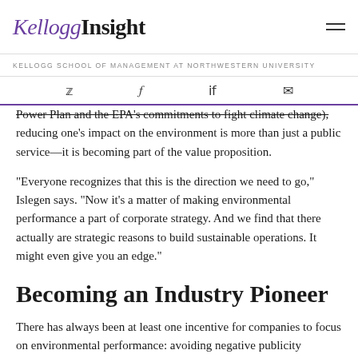KelloggInsight
KELLOGG SCHOOL OF MANAGEMENT AT NORTHWESTERN UNIVERSITY
Power Plan and the EPA's commitments to fight climate change), reducing one's impact on the environment is more than just a public service—it is becoming part of the value proposition.
“Everyone recognizes that this is the direction we need to go,” Islegen says. “Now it’s a matter of making environmental performance a part of corporate strategy. And we find that there actually are strategic reasons to build sustainable operations. It might even give you an edge.”
Becoming an Industry Pioneer
There has always been at least one incentive for companies to focus on environmental performance: avoiding negative publicity